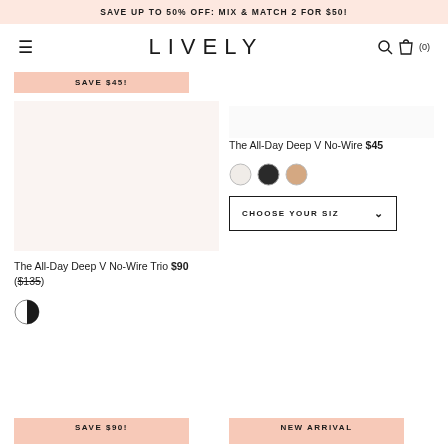SAVE UP TO 50% OFF: MIX & MATCH 2 FOR $50!
LIVELY
SAVE $45! The All-Day Deep V No-Wire Trio $90 ($135)
The All-Day Deep V No-Wire $45
CHOOSE YOUR SIZ